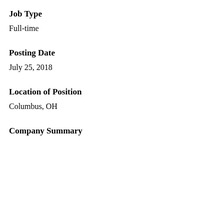Job Type
Full-time
Posting Date
July 25, 2018
Location of Position
Columbus, OH
Company Summary